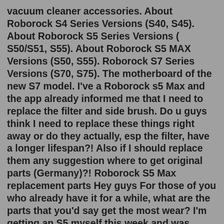vacuum cleaner accessories. About Roborock S4 Series Versions (S40, S45). About Roborock S5 Series Versions ( S50/S51, S55). About Roborock S5 MAX Versions (S50, S55). Roborock S7 Series Versions (S70, S75). The motherboard of the new S7 model. I've a Roborock s5 Max and the app already informed me that I need to replace the filter and side brush. Do u guys think I need to replace these things right away or do they actually, esp the filter, have a longer lifespan?! Also if I should replace them any suggestion where to get original parts (Germany)?! Roborock S5 Max replacement parts Hey guys For those of you who already have it for a while, what are the parts that you'd say get the most wear? I'm getting an S5 myself this week and was considering ordering alongside a couple of spare parts right now. As the original ones aren't that cheap, I wonder what would be the must-get replacement parts.Roborock S5 MAX Robot Vacuum and Mop Cleaner, Self-Charging Robotic Vacuum, Lidar Navigation,